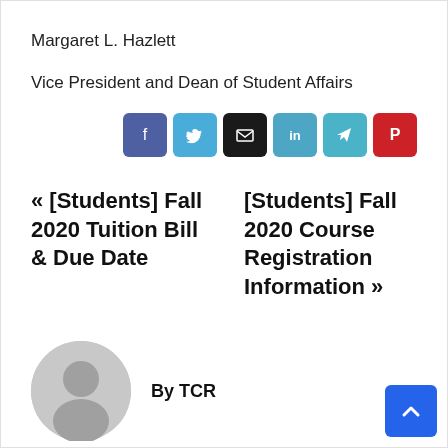Margaret L. Hazlett
Vice President and Dean of Student Affairs
[Figure (infographic): Row of social share buttons: Facebook (blue-purple), Twitter (blue), Email (black), LinkedIn (teal-blue), Telegram (teal), Pinterest (red)]
« [Students] Fall 2020 Tuition Bill & Due Date
[Students] Fall 2020 Course Registration Information »
By TCR
[Figure (illustration): Generic user avatar circle with silhouette icon in gray]